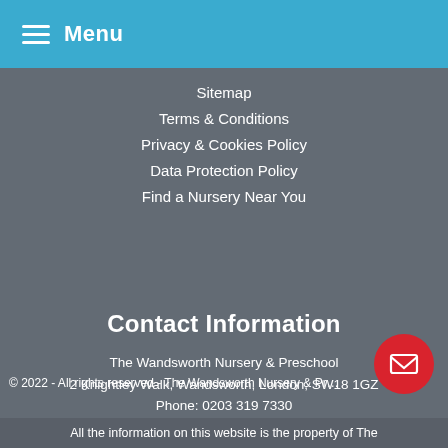Menu
Sitemap
Terms & Conditions
Privacy & Cookies Policy
Data Protection Policy
Find a Nursery Near You
Contact Information
The Wandsworth Nursery & Preschool
2 Knightley Walk, Wandsworth, London, SW18 1GZ
Phone: 0203 319 7330
Open: Monday to Friday 7:00am to 7:00pm
Registered in the UK.
Company Number: 09901029
© 2022 - All rights reserved - The Wandsworth Nursery & Pr…
All the information on this website is the property of The